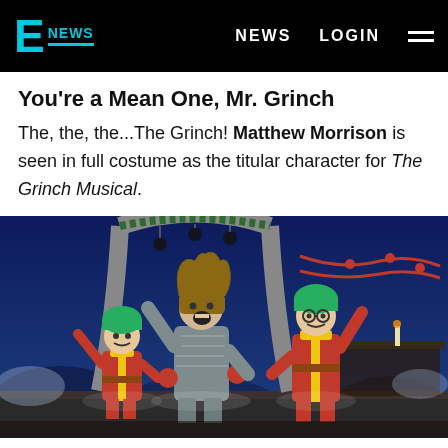E NEWS | NEWS | LOGIN
You're a Mean One, Mr. Grinch
The, the, the...The Grinch! Matthew Morrison is seen in full costume as the titular character for The Grinch Musical.
[Figure (photo): Three performers on a theatrical stage set. Center figure is dressed in grey/silver Grinch costume with long hair and red gloves. Left and right flanking figures wear red jumpsuits with yellow stripes and green wigs (Who costumes). Background shows blue theatrical sky backdrop with stylized Who-ville set pieces and holiday decorations.]